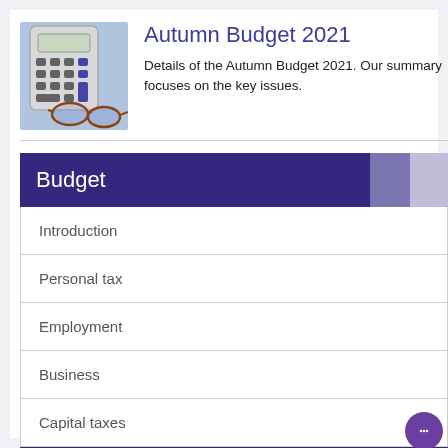[Figure (photo): Photo of a calculator and glasses on blue financial documents]
Autumn Budget 2021
Details of the Autumn Budget 2021. Our summary focuses on the key issues.
Budget
Introduction
Personal tax
Employment
Business
Capital taxes
Other matters